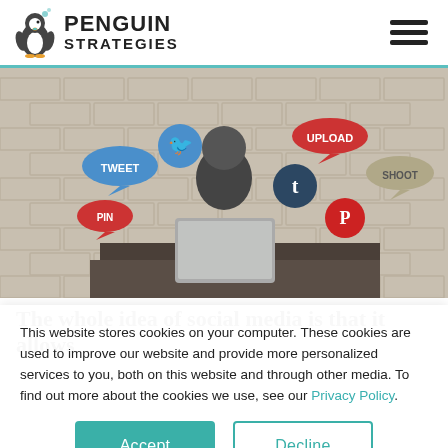[Figure (logo): Penguin Strategies logo with penguin icon and text PENGUIN STRATEGIES]
[Figure (photo): Person sitting at desk with laptop in front of a brick wall, surrounded by social media icons including Tweet, Upload, Pin, Tumblr, Pinterest, Twitter/Tweet bubbles]
The whole idea of social media is that it allows
This website stores cookies on your computer. These cookies are used to improve our website and provide more personalized services to you, both on this website and through other media. To find out more about the cookies we use, see our Privacy Policy.
Accept
Decline